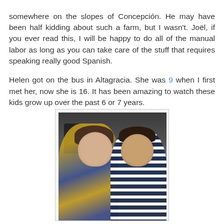somewhere on the slopes of Concepción. He may have been half kidding about such a farm, but I wasn't. Joël, if you ever read this, I will be happy to do all of the manual labor as long as you can take care of the stuff that requires speaking really good Spanish.

Helen got on the bus in Altagracia. She was 9 when I first met her, now she is 16. It has been amazing to watch these kids grow up over the past 6 or 7 years.
[Figure (photo): Selfie photo of two young people on a bus. On the left is a young man with light skin and brown hair wearing a yellow and blue plaid shirt, holding up what appears to be a phone or device. On the right is a young woman with darker skin and black hair wearing a navy and white striped polo shirt with white earbuds. They are seated side by side on a bus.]